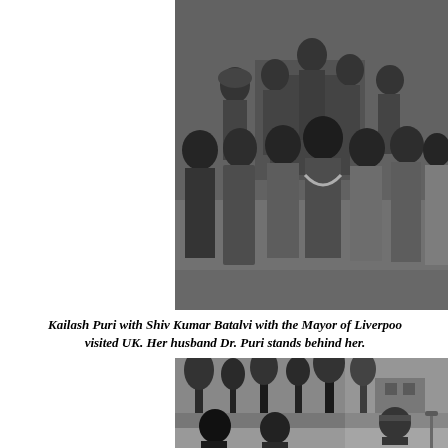[Figure (photo): Black and white group photograph of Kailash Puri with Shiv Kumar Batalvi and the Mayor of Liverpool, along with other guests, posing together outside a brick building. Several men and women of South Asian and British appearance are arranged in two rows.]
Kailash Puri with Shiv Kumar Batalvi with the Mayor of Liverpool when Batalvi visited UK. Her husband Dr. Puri stands behind her.
[Figure (photo): Black and white photograph showing people at what appears to be an outdoor event or gathering, with a painted backdrop or mural visible in the background depicting a landscape with trees and buildings.]